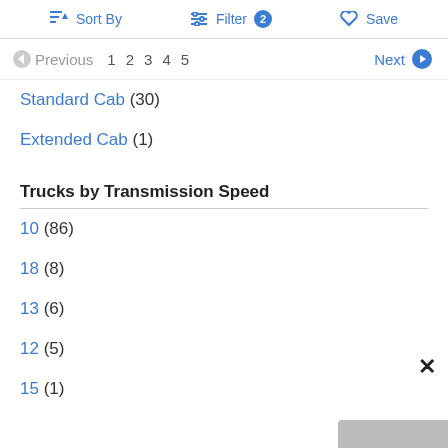Sort By   Filter 2   Save
Previous  1 2 3 4 5  Next
Standard Cab (30)
Extended Cab (1)
Trucks by Transmission Speed
10 (86)
18 (8)
13 (6)
12 (5)
15 (1)